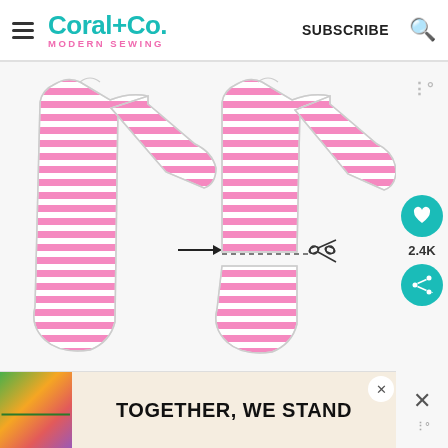Coral+Co. MODERN SEWING | SUBSCRIBE
[Figure (illustration): Two sewing pattern pieces of a striped pink and white dress/top. Left shows the full piece, an arrow points right to the right piece which has a dashed cutting line and scissors icon showing where to cut the hem area.]
TOGETHER, WE STAND